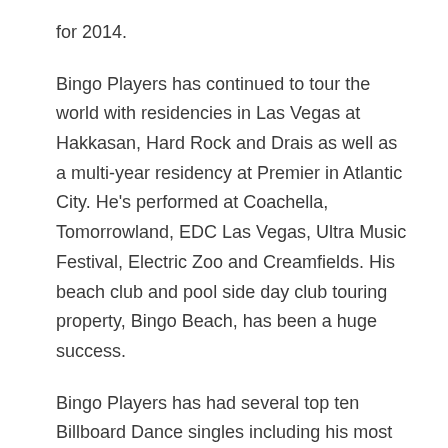for 2014.
Bingo Players has continued to tour the world with residencies in Las Vegas at Hakkasan, Hard Rock and Drais as well as a multi-year residency at Premier in Atlantic City. He's performed at Coachella, Tomorrowland, EDC Las Vegas, Ultra Music Festival, Electric Zoo and Creamfields. His beach club and pool side day club touring property, Bingo Beach, has been a huge success.
Bingo Players has had several top ten Billboard Dance singles including his most recent “Forever Love” which peaked at #4 at dance and #45 at US Top 40 in February 2021. His songs have amassed over 200 million + streams on Spotify, over 400 million + streams on YouTube and are supported by many A-level DJs.